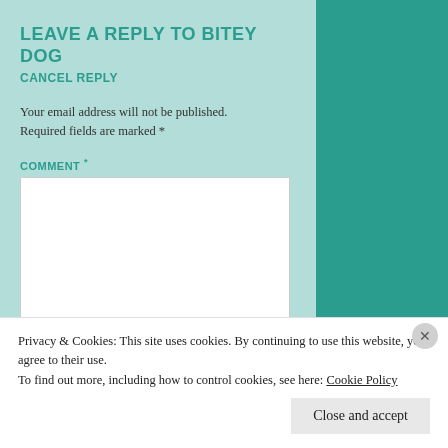LEAVE A REPLY TO BITEY DOG
CANCEL REPLY
Your email address will not be published. Required fields are marked *
COMMENT *
NAME
Privacy & Cookies: This site uses cookies. By continuing to use this website, you agree to their use. To find out more, including how to control cookies, see here: Cookie Policy
Close and accept